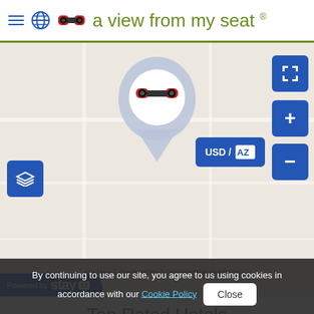a view from my seat ®
[Figure (map): Interactive map showing a location pin with binoculars icon, map controls (fullscreen, zoom +/-, layers, USD/AZ currency toggle), powered by Stay22, with OpenStreetMap attribution.]
Top Rated Hotels
Myrtle Beach Marriott   rates from
8400 Costa Verde Drive   Check-in current
By continuing to use our site, you agree to us using cookies in accordance with our Cookie Policy   Close